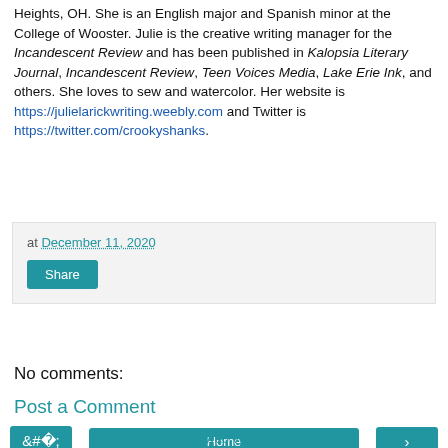Heights, OH. She is an English major and Spanish minor at the College of Wooster. Julie is the creative writing manager for the Incandescent Review and has been published in Kalopsia Literary Journal, Incandescent Review, Teen Voices Media, Lake Erie Ink, and others. She loves to sew and watercolor. Her website is https://julielarickwriting.weebly.com and Twitter is https://twitter.com/crookyshanks.
at December 11, 2020
Share
No comments:
Post a Comment
‹
Home
›
View web version